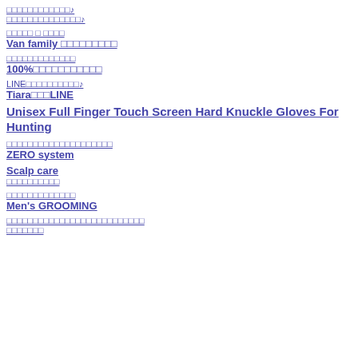□□□□□□□□□□□□♪
□□□□□□□□□□□□□□♪
□□□□□ □ □□□□
Van family □□□□□□□□□
□□□□□□□□□□□□□
100%□□□□□□□□□□□
LINE□□□□□□□□□□♪
Tiara□□□LINE
Unisex Full Finger Touch Screen Hard Knuckle Gloves For Hunting
□□□□□□□□□□□□□□□□□□□□
ZERO system
Scalp care
□□□□□□□□□□
□□□□□□□□□□□□□
Men's GROOMING
□□□□□□□□□□□□□□□□□□□□□□□□□□
□□□□□□□